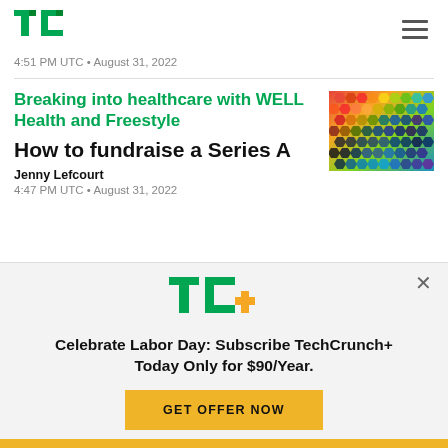TechCrunch
4:51 PM UTC • August 31, 2022
Breaking into healthcare with WELL Health and Freestyle
How to fundraise a Series A
[Figure (photo): Colorful hexagonal mosaic pattern photo, used as article thumbnail]
Jenny Lefcourt
4:47 PM UTC • August 31, 2022
[Figure (logo): TC+ logo in green and yellow]
Celebrate Labor Day: Subscribe TechCrunch+ Today Only for $90/Year.
GET OFFER NOW